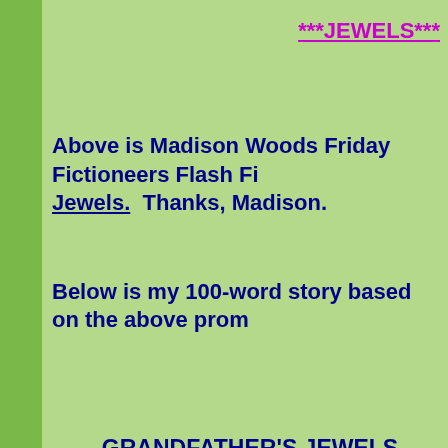***JEWELS***
Above is Madison Woods Friday Fictioneers Flash Fi... Jewels.  Thanks, Madison.
Below is my 100-word story based on the above prom...
GRANDFATHER'S JEWELS